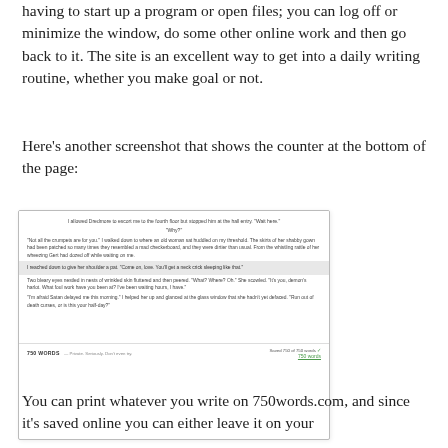having to start up a program or open files; you can log off or minimize the window, do some other online work and then go back to it. The site is an excellent way to get into a daily writing routine, whether you make goal or not.
Here's another screenshot that shows the counter at the bottom of the page:
[Figure (screenshot): Screenshot of 750words.com writing interface showing a passage of fiction text with a highlighted current line, and a footer bar showing '750 WORDS' on the left and a green '750 words' link with checkmark on the right.]
You can print whatever you write on 750words.com, and since it's saved online you can either leave it on your